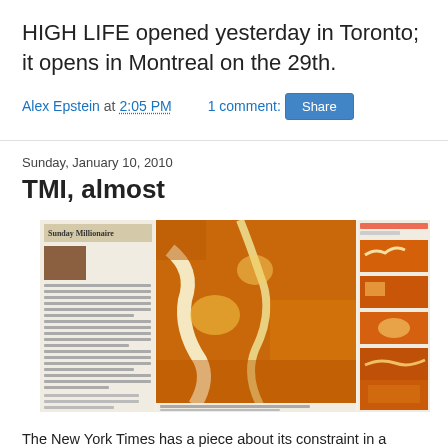HIGH LIFE opened yesterday in Toronto; it opens in Montreal on the 29th.
Alex Epstein at 2:05 PM    1 comment:
Share
Sunday, January 10, 2010
TMI, almost
[Figure (screenshot): Screenshot of a newspaper page showing a Sunday Millionaire article alongside an orange-toned map of what appears to be Mumbai or a dense urban area, with thumbnail maps on the right side.]
The New York Times has a piece about its constraint in a Netflix...